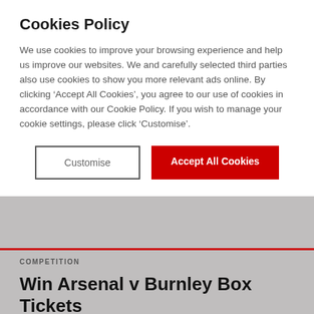Cookies Policy
We use cookies to improve your browsing experience and help us improve our websites. We and carefully selected third parties also use cookies to show you more relevant ads online. By clicking ‘Accept All Cookies’, you agree to our use of cookies in accordance with our Cookie Policy. If you wish to manage your cookie settings, please click ‘Customise’.
Customise | Accept All Cookies
COMPETITION
Win Arsenal v Burnley Box Tickets